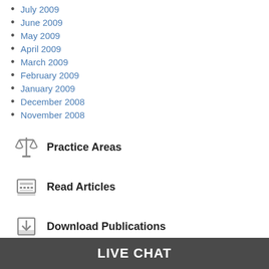July 2009
June 2009
May 2009
April 2009
March 2009
February 2009
January 2009
December 2008
November 2008
Practice Areas
Read Articles
Download Publications
Contact Us
LIVE CHAT